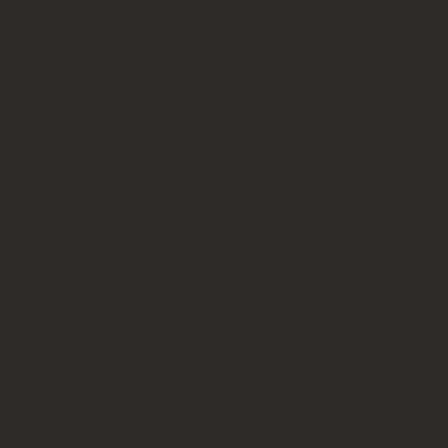| Rank | Avatar | Player Info |
| --- | --- | --- |
| 58. |  | Claverol | (L: 4921) [R: 503] | Royal Paladin |
| 59. |  | Malevola | (L: 4915) [R: 616] | Lord Drunou |
| 60. |  | Kenkofeni... | (L: 4910) [R: 1314] | Royal Paladin |
| 61. |  | Programm... | (L: 4908) [R: 757] | Elder Druid |
| 62. |  | Savage T... | (L: 4889) [R: 688] | Royal Paladin |
| 63. |  | Llewellyn | (L: 4881) [R: 503] | Master Infernalist |
| 64. |  | Alcott Osa... | (L: 4858) [R: 948...] |